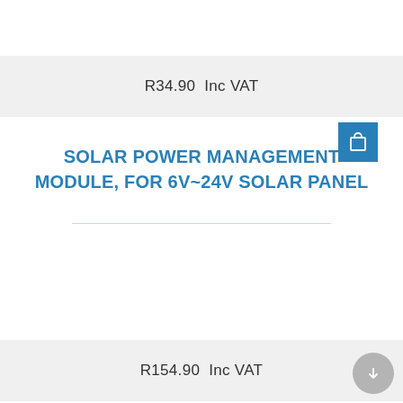R34.90  Inc VAT
SOLAR POWER MANAGEMENT MODULE, FOR 6V~24V SOLAR PANEL
R154.90  Inc VAT